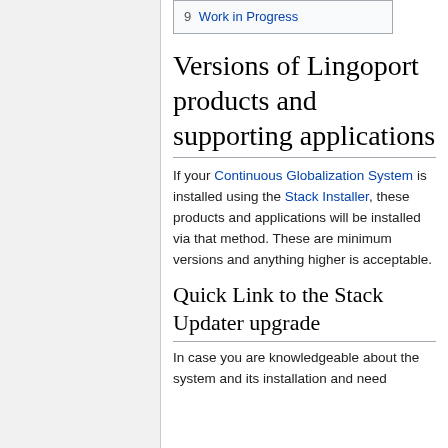9  Work in Progress
Versions of Lingoport products and supporting applications
If your Continuous Globalization System is installed using the Stack Installer, these products and applications will be installed via that method. These are minimum versions and anything higher is acceptable.
Quick Link to the Stack Updater upgrade
In case you are knowledgeable about the system and its installation and need